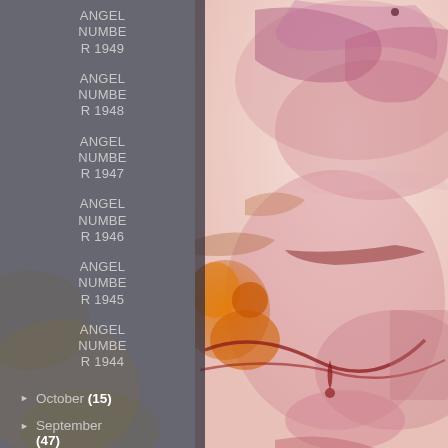ANGEL NUMBER 1949
ANGEL NUMBER 1948
ANGEL NUMBER 1947
ANGEL NUMBER 1946
ANGEL NUMBER 1945
ANGEL NUMBER 1944
► October (15)
► September (47)
► August (78)
[Figure (illustration): Abstract watercolor artwork with flowing pink, red, magenta and orange ink washes on white background, creating organic shapes and drips across the right half of the image]